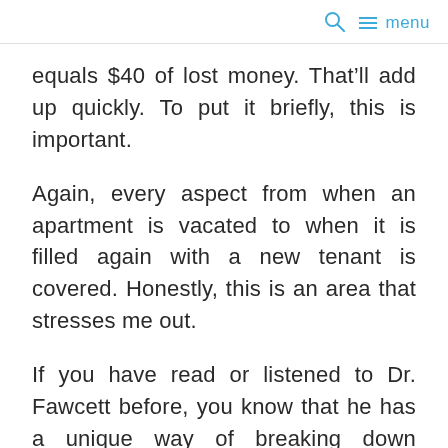menu
equals $40 of lost money. That’ll add up quickly. To put it briefly, this is important.
Again, every aspect from when an apartment is vacated to when it is filled again with a new tenant is covered. Honestly, this is an area that stresses me out.
If you have read or listened to Dr. Fawcett before, you know that he has a unique way of breaking down complex topics and tasks into simple terms, making the confusing, understandable and the daunting, achievable. I found that to be the case again with this module. I picked up a number of pearls that